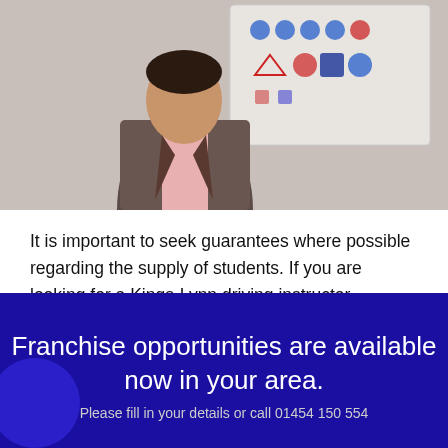[Figure (photo): A person in a checked blazer standing in front of a whiteboard with driving theory road signs displayed on it.]
It is important to seek guarantees where possible regarding the supply of students. If you are looking for a Kings-Lynn driving instructor franchise that ticks all the right boxes, contact Smart Drive UK today.
Franchise opportunities are available now in your area.